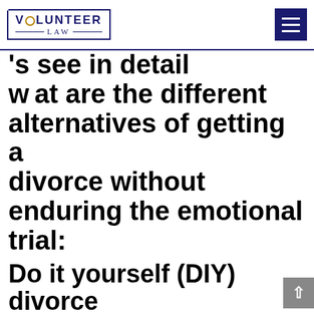VOLUNTEER LAW — navigation header with hamburger menu
…'s see in detail what are the different alternatives of getting a divorce without enduring the emotional trial:
Do it yourself (DIY) divorce
Like all those DIY trick shots and recipes, divorce can be done by yourself i.e you and your spouse. No lawyer fees, no family squabbles, no running to and from the courts. Sounds simple, right?